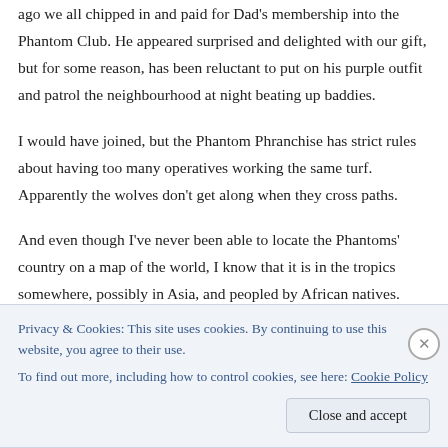ago we all chipped in and paid for Dad's membership into the Phantom Club. He appeared surprised and delighted with our gift, but for some reason, has been reluctant to put on his purple outfit and patrol the neighbourhood at night beating up baddies.
I would have joined, but the Phantom Phranchise has strict rules about having too many operatives working the same turf. Apparently the wolves don't get along when they cross paths.
And even though I've never been able to locate the Phantoms' country on a map of the world, I know that it is in the tropics somewhere, possibly in Asia, and peopled by African natives. You'd think that sort of
Privacy & Cookies: This site uses cookies. By continuing to use this website, you agree to their use.
To find out more, including how to control cookies, see here: Cookie Policy
Close and accept